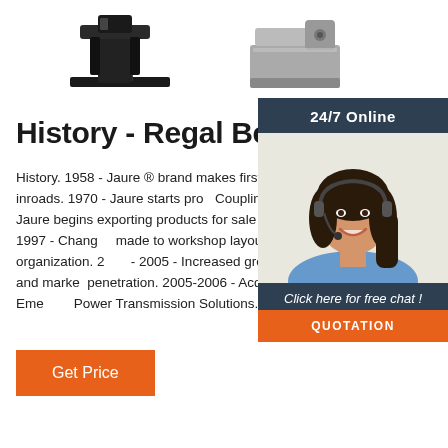[Figure (photo): Two industrial coupling/bracket hardware product photos at the top of the page — a black bracket on the left and a silver/metallic bracket on the right]
History - Regal Beloit
History. 1958 - Jaure ® brand makes first workshop inroads. 1970 - Jaure starts producing Couplings. 1975 - Jaure begins exporting products for sale to Europe. 1997 - Changes made to workshop layout & organization. 2005 - Increased growth period and market penetration. 2005-2006 - Acquired by Emerson Power Transmission Solutions.
[Figure (photo): 24/7 Online customer service chat widget with a photo of a smiling woman wearing a headset, a 'Click here for free chat!' prompt, and a QUOTATION button — dark blue/navy background with orange button]
Get Price